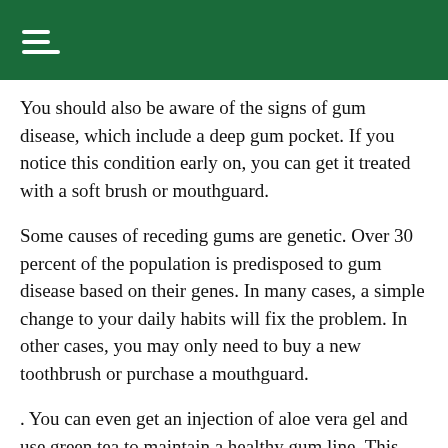≡ (hamburger menu icon)
You should also be aware of the signs of gum disease, which include a deep gum pocket. If you notice this condition early on, you can get it treated with a soft brush or mouthguard.
Some causes of receding gums are genetic. Over 30 percent of the population is predisposed to gum disease based on their genes. In many cases, a simple change to your daily habits will fix the problem. In other cases, you may only need to buy a new toothbrush or purchase a mouthguard.
. You can even get an injection of aloe vera gel and use green tea to maintain a healthy gum line. This natural remedy can be done without the use of drugs and surgery. It is important to note that this remedy is not